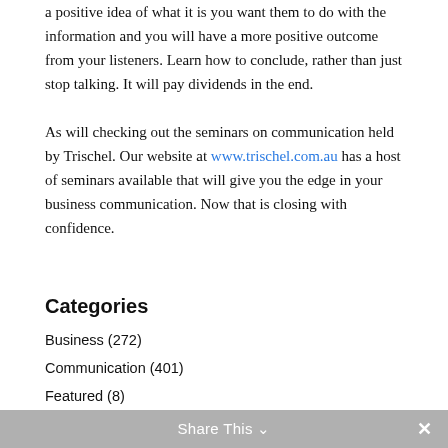a positive idea of what it is you want them to do with the information and you will have a more positive outcome from your listeners. Learn how to conclude, rather than just stop talking. It will pay dividends in the end.
As will checking out the seminars on communication held by Trischel. Our website at www.trischel.com.au has a host of seminars available that will give you the edge in your business communication. Now that is closing with confidence.
Categories
Business (272)
Communication (401)
Featured (8)
Job Interviews (44)
Share This ∨  ✕